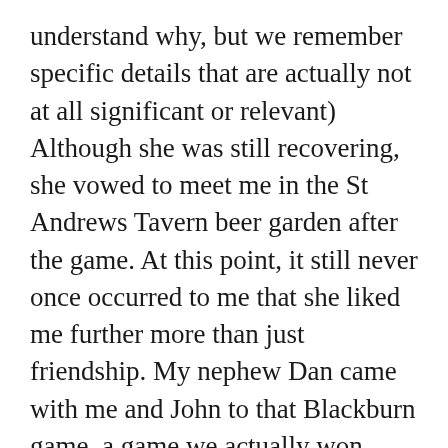understand why, but we remember specific details that are actually not at all significant or relevant) Although she was still recovering, she vowed to meet me in the St Andrews Tavern beer garden after the game. At this point, it still never once occurred to me that she liked me further more than just friendship. My nephew Dan came with me and John to that Blackburn game, a game we actually won handsomely although we were still relegated. It was a bitter sweet day for a lot of reasons, for a lot of people. The protracted takeover was really starting to get to the Blues support and the final whistle had brought a mass protest at the board of Spivs who owned us. Dan still rates it as one of his all time favourite days. Me? I was just